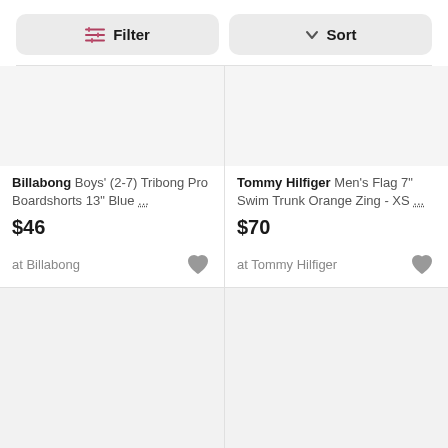[Figure (screenshot): Filter button with sliders icon]
[Figure (screenshot): Sort button with chevron icon]
[Figure (photo): Product image placeholder for Billabong boardshorts]
Billabong Boys' (2-7) Tribong Pro Boardshorts 13" Blue ...
$46
at Billabong
[Figure (photo): Product image placeholder for Tommy Hilfiger swim trunk]
Tommy Hilfiger Men's Flag 7" Swim Trunk Orange Zing - XS ...
$70
at Tommy Hilfiger
[Figure (photo): Product image placeholder bottom left]
[Figure (photo): Product image placeholder bottom right]